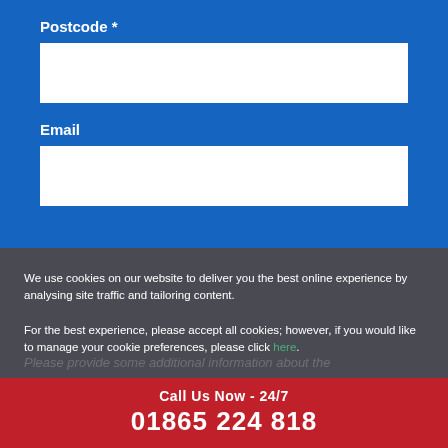Postcode *
Email
We use cookies on our website to deliver you the best online experience by analysing site traffic and tailoring content.

For the best experience, please accept all cookies; however, if you would like to manage your cookie preferences, please click here.
Please provide some additional information about the
Call Us Now - 24/7
01865 224 818